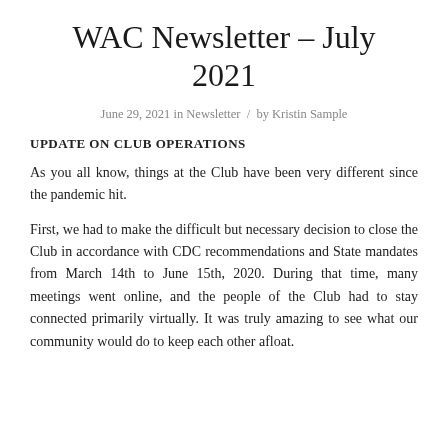WAC Newsletter – July 2021
June 29, 2021 in Newsletter / by Kristin Sample
UPDATE ON CLUB OPERATIONS
As you all know, things at the Club have been very different since the pandemic hit.
First, we had to make the difficult but necessary decision to close the Club in accordance with CDC recommendations and State mandates from March 14th to June 15th, 2020. During that time, many meetings went online, and the people of the Club had to stay connected primarily virtually. It was truly amazing to see what our community would do to keep each other afloat.